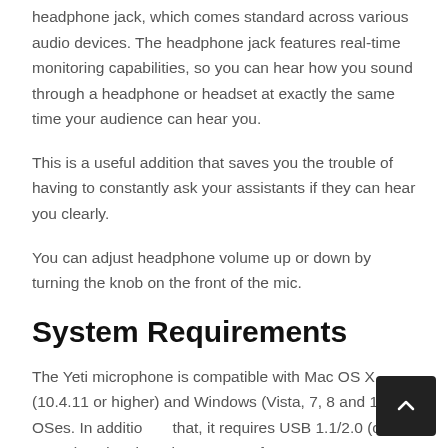headphone jack, which comes standard across various audio devices. The headphone jack features real-time monitoring capabilities, so you can hear how you sound through a headphone or headset at exactly the same time your audience can hear you.
This is a useful addition that saves you the trouble of having to constantly ask your assistants if they can hear you clearly.
You can adjust headphone volume up or down by turning the knob on the front of the mic.
System Requirements
The Yeti microphone is compatible with Mac OS X (10.4.11 or higher) and Windows (Vista, 7, 8 and 10) OSes. In addition to that, it requires USB 1.1/2.0 (or newer) and no less than 64 MB of RAM.